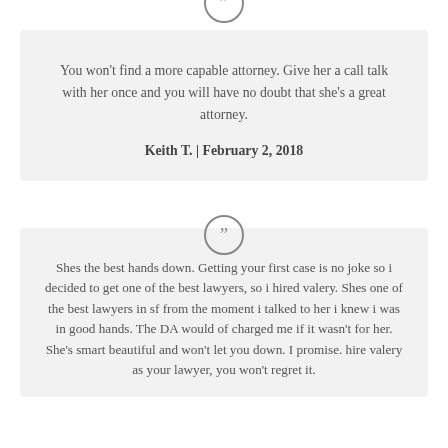[Figure (other): Quotation mark icon (double closing quote) inside a circle, gray stroke]
You won't find a more capable attorney. Give her a call talk with her once and you will have no doubt that she's a great attorney.
Keith T. | February 2, 2018
[Figure (other): Quotation mark icon (double closing quote) inside a circle, gray stroke]
Shes the best hands down. Getting your first case is no joke so i decided to get one of the best lawyers, so i hired valery. Shes one of the best lawyers in sf from the moment i talked to her i knew i was in good hands. The DA would of charged me if it wasn't for her. She's smart beautiful and won't let you down. I promise. hire valery as your lawyer, you won't regret it.